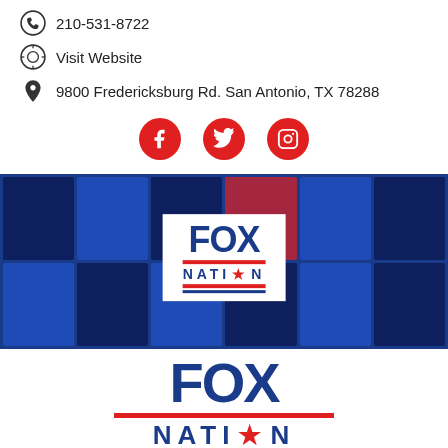210-531-8722
Visit Website
9800 Fredericksburg Rd. San Antonio, TX 78288
[Figure (infographic): Three red circular social media icons: Facebook, Twitter, Instagram]
[Figure (photo): Fox Nation promotional banner with blue background showing TV show tiles and Fox Nation logo]
[Figure (infographic): Fox Nation logo large format with red stripes and star]
[Figure (advertisement): Ad banner: #1 Natural Prostate Treatment. Top Urologist: Enlarged Prostate? Do This Immediately! healthreport4u.com]